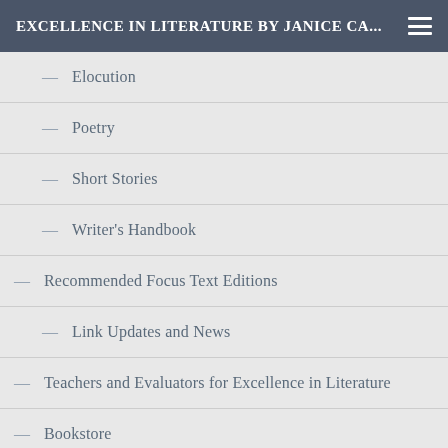Excellence in Literature by Janice Ca...
— Elocution
— Poetry
— Short Stories
— Writer's Handbook
— Recommended Focus Text Editions
— Link Updates and News
— Teachers and Evaluators for Excellence in Literature
— Bookstore